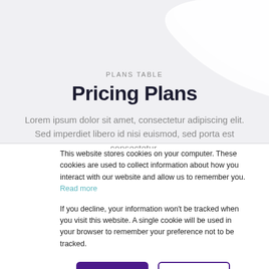PLANS TABLE
Pricing Plans
Lorem ipsum dolor sit amet, consectetur adipiscing elit. Sed imperdiet libero id nisi euismod, sed porta est consectetur.
This website stores cookies on your computer. These cookies are used to collect information about how you interact with our website and allow us to remember you. Read more
If you decline, your information won't be tracked when you visit this website. A single cookie will be used in your browser to remember your preference not to be tracked.